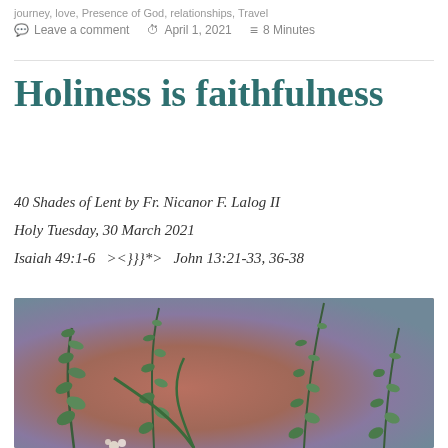journey, love, Presence of God, relationships, Travel
Leave a comment   April 1, 2021   8 Minutes
Holiness is faithfulness
40 Shades of Lent by Fr. Nicanor F. Lalog II
Holy Tuesday, 30 March 2021
Isaiah 49:1-6   ><}}}*>   John 13:21-33, 36-38
[Figure (photo): Photo of green eucalyptus and fern plants arranged against a warm terracotta/mauve painted background]